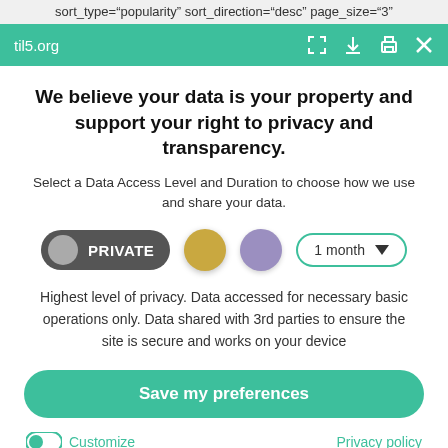sort_type="popularity" sort_direction="desc" page_size="3"
til5.org
We believe your data is your property and support your right to privacy and transparency.
Select a Data Access Level and Duration to choose how we use and share your data.
[Figure (infographic): Privacy level selector with PRIVATE pill toggle (dark grey with grey circle), gold circle button, purple circle button, and 1 month dropdown with teal border]
Highest level of privacy. Data accessed for necessary basic operations only. Data shared with 3rd parties to ensure the site is secure and works on your device
Save my preferences
Customize
Privacy policy